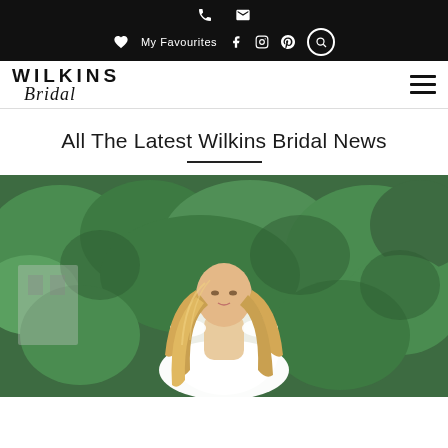Wilkins Bridal - navigation bar with phone, email, My Favourites, Facebook, Instagram, Pinterest, Search icons
[Figure (logo): Wilkins Bridal logo - WILKINS in bold uppercase with Bridal in italic script below]
All The Latest Wilkins Bridal News
[Figure (photo): A woman with long blonde hair wearing a white off-the-shoulder lace wedding dress, standing in front of green leafy hedges]